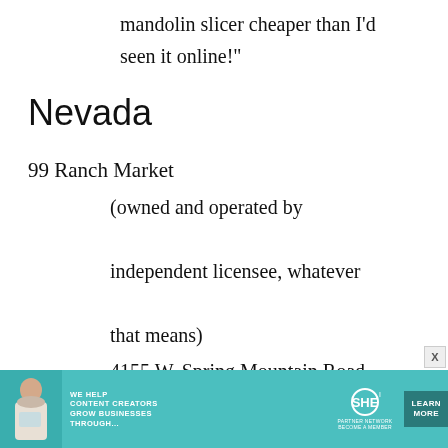mandolin slicer cheaper than I'd seen it online!"
Nevada
99 Ranch Market
(owned and operated by independent licensee, whatever that means)
4155 W. Spring Mountain Road
Las Vegas, NV 89102
Tel: (702) 364-8899
Hours: 8:30 am - 10:00 pm
[Figure (other): Advertisement banner for SHE Media Partner Network with teal background, woman with laptop, text 'We Help Content Creators Grow Businesses Through...' and 'Learn More' button]